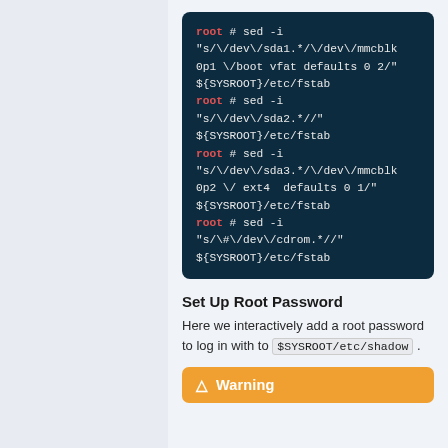[Figure (screenshot): Terminal code block on dark teal background showing four root shell commands modifying /etc/fstab using sed]
Set Up Root Password
Here we interactively add a root password to log in with to $SYSROOT/etc/shadow .
[Figure (other): Warning box with orange header labelled Warning]